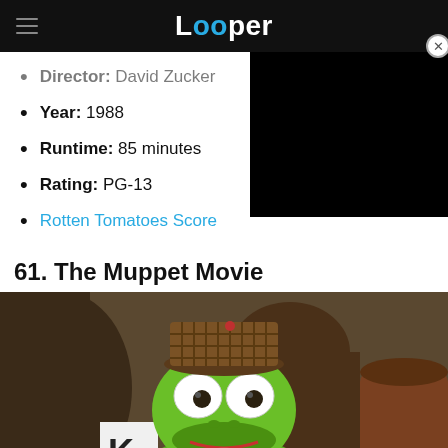Looper
Director: David Zucker
Year: 1988
Runtime: 85 minutes
Rating: PG-13
Rotten Tomatoes Score
61. The Muppet Movie
[Figure (photo): Close-up of Kermit the Frog puppet wearing a small checkered hat, looking at camera, with brown objects in background and a white sign with letter K on the left.]